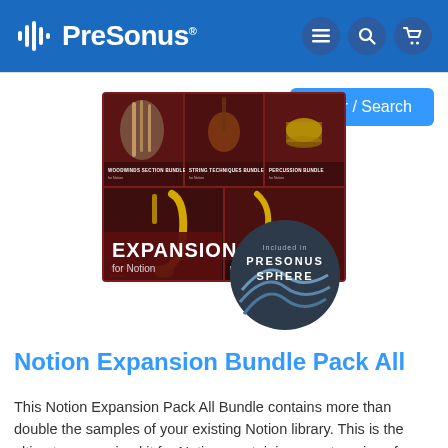PreSonus
[Figure (illustration): PreSonus Expansion for Notion Bundle Pack All product image showing multiple instrument bundle sub-packs (Woodwinds Section Bundle, String Techniques Bundle, Percussion Bundle, Saxophone Bundle, Brass Section Bundle) with a dark red background and a circular 'Included in PreSonus Sphere' badge overlay.]
Notion Expansion Bundle Pack All
This Notion Expansion Pack All Bundle contains more than double the samples of your existing Notion library. This is the ultimate expansion kit for Notion, containing over ten gigs of sound samples...